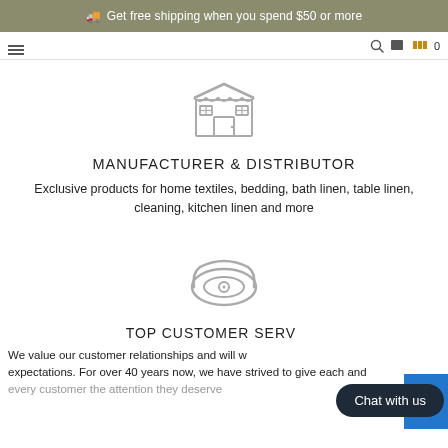🚚 Get free shipping when you spend $50 or more
[Figure (illustration): Store/shop icon — a storefront with awning and windows, in light grey outline style]
MANUFACTURER & DISTRIBUTOR
Exclusive products for home textiles, bedding, bath linen, table linen, cleaning, kitchen linen and more
[Figure (illustration): Telephone/phone icon — a retro handset phone, in light grey outline style]
TOP CUSTOMER SERVICE
We value our customer relationships and will work above your expectations. For over 40 years now, we have strived to give each and every customer the attention they deserve